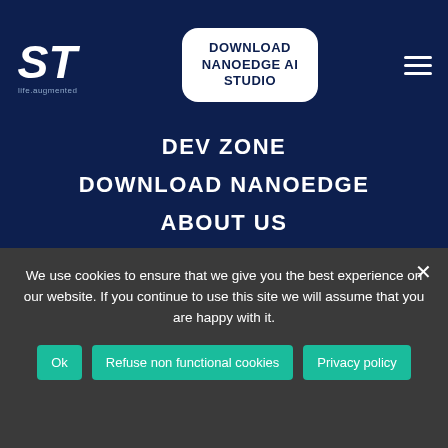[Figure (logo): STMicroelectronics ST logo in white on dark blue background with 'life.augmented' tagline]
DOWNLOAD NANOEDGE AI STUDIO
DEV ZONE
DOWNLOAD NANOEDGE
ABOUT US
PRICING
CONTACT
FOLLOW US
CARTESIAM
We use cookies to ensure that we give you the best experience on our website. If you continue to use this site we will assume that you are happy with it.